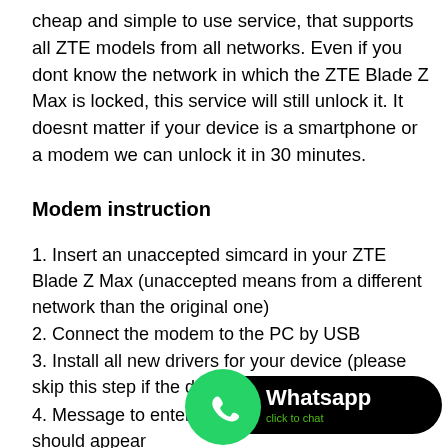cheap and simple to use service, that supports all ZTE models from all networks. Even if you dont know the network in which the ZTE Blade Z Max is locked, this service will still unlock it. It doesnt matter if your device is a smartphone or a modem we can unlock it in 30 minutes.
Modem instruction
1. Insert an unaccepted simcard in your ZTE Blade Z Max (unaccepted means from a different network than the original one)
2. Connect the modem to the PC by USB
3. Install all new drivers for your device (please skip this step if the drivers are already installed)
4. Message to enter a network unlock code should appear
* the unlock message doesn't appe...
Enter the following sequence in yo... 192.168.0.1 or 192.168.1.1
[Figure (logo): WhatsApp click to chat badge with green WhatsApp icon and black rounded rectangle with white 'Whatsapp' text and green 'click to chat' subtext]